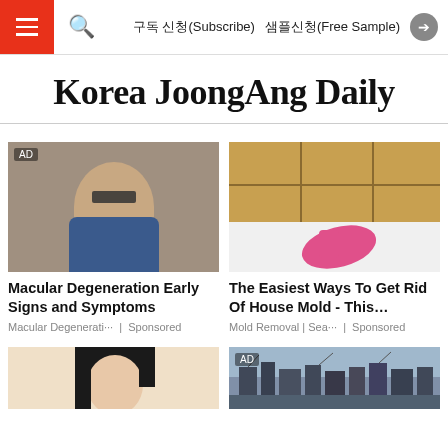구독 신청(Subscribe)  샘플신청(Free Sample)
Korea JoongAng Daily
[Figure (photo): Advertisement photo of a man adjusting glasses, looking thoughtful, wearing a blue shirt. AD badge top-left.]
Macular Degeneration Early Signs and Symptoms
Macular Degenerati… | Sponsored
[Figure (photo): Advertisement photo of a pink-gloved hand pointing at bathroom tile grout/mold. AD badge top-left.]
The Easiest Ways To Get Rid Of House Mold - This…
Mold Removal | Sea… | Sponsored
[Figure (photo): Photo of a woman with dark hair, partially cropped, looking up.]
[Figure (photo): Photo of a port with ships and cargo containers. AD badge top-left.]